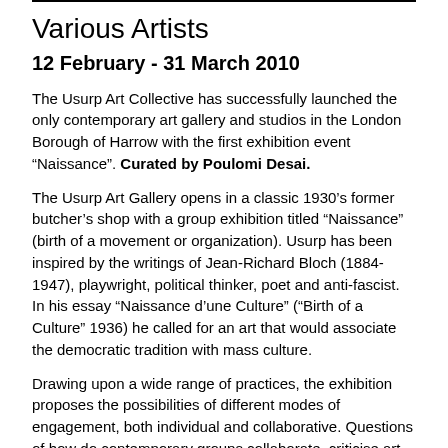Various Artists
12 February - 31 March 2010
The Usurp Art Collective has successfully launched the only contemporary art gallery and studios in the London Borough of Harrow with the first exhibition event “Naissance”. Curated by Poulomi Desai.
The Usurp Art Gallery opens in a classic 1930’s former butcher’s shop with a group exhibition titled “Naissance” (birth of a movement or organization). Usurp has been inspired by the writings of Jean-Richard Bloch (1884-1947), playwright, political thinker, poet and anti-fascist. In his essay “Naissance d’une Culture” (“Birth of a Culture” 1936) he called for an art that would associate the democratic tradition with mass culture.
Drawing upon a wide range of practices, the exhibition proposes the possibilities of different modes of engagement, both individual and collaborative. Questions of how do contemporary groups collaborate, criticise art...